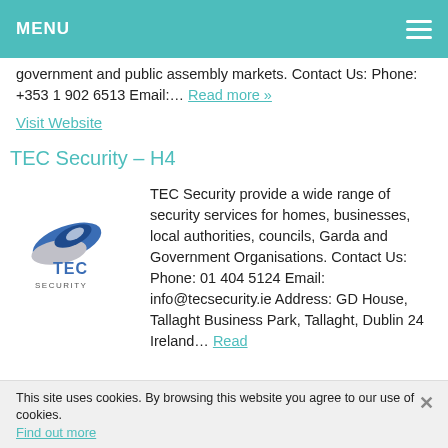MENU
government and public assembly markets. Contact Us: Phone: +353 1 902 6513 Email:… Read more »
Visit Website
TEC Security – H4
[Figure (logo): TEC Security company logo with blue and silver curved shapes and text 'TEC SECURITY']
TEC Security provide a wide range of security services for homes, businesses, local authorities, councils, Garda and Government Organisations. Contact Us:  Phone: 01 404 5124 Email: info@tecsecurity.ie Address: GD House, Tallaght Business Park, Tallaght, Dublin 24 Ireland… Read
This site uses cookies. By browsing this website you agree to our use of cookies. Find out more